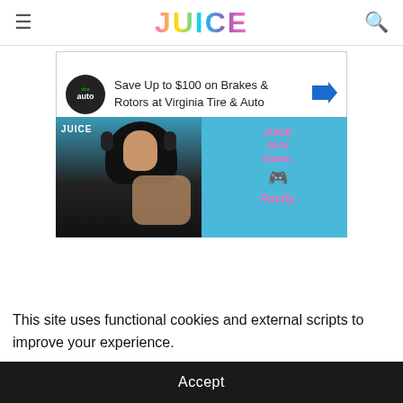JUICE
[Figure (other): Advertisement banner for Virginia Tire & Auto - Save Up to $100 on Brakes & Rotors]
[Figure (photo): Video thumbnail showing a woman wearing a hijab and headphones, with text overlay reading 'JUICE Girls Game: Pacify' and a gamepad icon, on a teal background. JUICE watermark in top-left corner.]
This site uses functional cookies and external scripts to improve your experience.
Accept